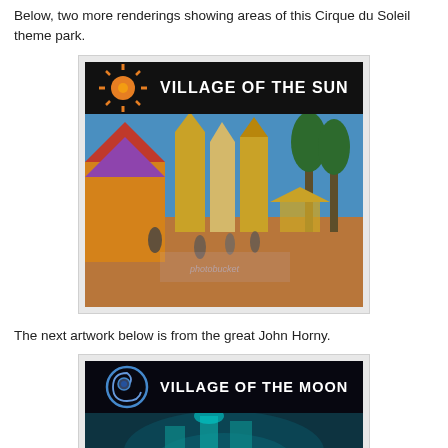Below, two more renderings showing areas of this Cirque du Soleil theme park.
[Figure (illustration): Rendering of 'Village of the Sun' area of a Cirque du Soleil theme park. Black background with an orange sun logo and the text 'VILLAGE OF THE SUN' at the top. Below is a colorful concept art showing a festive market/plaza with colorful tents, ornate towers, palm trees, and people walking. Photobucket watermark visible.]
The next artwork below is from the great John Horny.
[Figure (illustration): Rendering of 'Village of the Moon' area of a Cirque du Soleil theme park. Black background with a blue circular moon logo and the text 'VILLAGE OF THE MOON' at the top. Below is a teal/cyan concept art showing a futuristic, otherworldly scene with glowing structures. Photobucket watermark visible.]